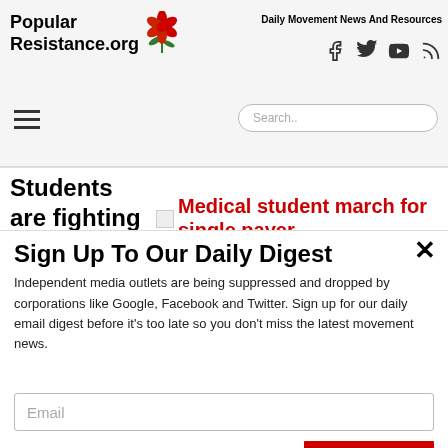Popular Resistance.org — Daily Movement News And Resources
Students are fighting for
Medical student march for single payer
Sign Up To Our Daily Digest
Independent media outlets are being suppressed and dropped by corporations like Google, Facebook and Twitter. Sign up for our daily email digest before it's too late so you don't miss the latest movement news.
Email